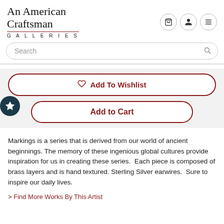An American Craftsman GALLERIES
Search
Add To Wishlist
Add to Cart
Markings is a series that is derived from our world of ancient beginnings. The memory of these ingenious global cultures provide inspiration for us in creating these series.  Each piece is composed of brass layers and is hand textured. Sterling Silver earwires.  Sure to inspire our daily lives.
> Find More Works By This Artist